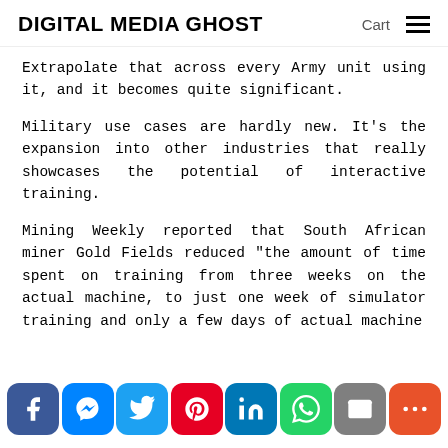DIGITAL MEDIA GHOST  Cart ☰
Extrapolate that across every Army unit using it, and it becomes quite significant.
Military use cases are hardly new. It's the expansion into other industries that really showcases the potential of interactive training.
Mining Weekly reported that South African miner Gold Fields reduced "the amount of time spent on training from three weeks on the actual machine, to just one week of simulator training and only a few days of actual machine
Share buttons: Facebook, Messenger, Twitter, Pinterest, LinkedIn, WhatsApp, Email, More